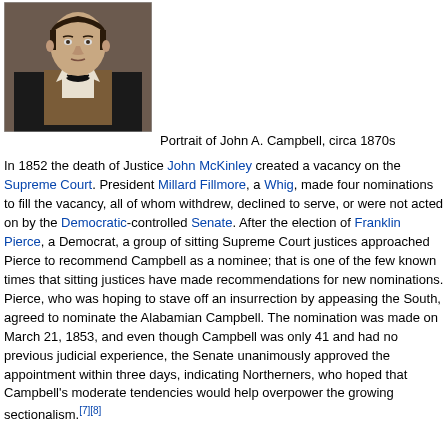[Figure (photo): Portrait painting of John A. Campbell, circa 1870s, showing a man in a dark coat with white shirt and bow tie]
Portrait of John A. Campbell, circa 1870s
In 1852 the death of Justice John McKinley created a vacancy on the Supreme Court. President Millard Fillmore, a Whig, made four nominations to fill the vacancy, all of whom withdrew, declined to serve, or were not acted on by the Democratic-controlled Senate. After the election of Franklin Pierce, a Democrat, a group of sitting Supreme Court justices approached Pierce to recommend Campbell as a nominee; that is one of the few known times that sitting justices have made recommendations for new nominations. Pierce, who was hoping to stave off an insurrection by appeasing the South, agreed to nominate the Alabamian Campbell. The nomination was made on March 21, 1853, and even though Campbell was only 41 and had no previous judicial experience, the Senate unanimously approved the appointment within three days, indicating Northerners, who hoped that Campbell's moderate tendencies would help overpower the growing sectionalism.[7][8]